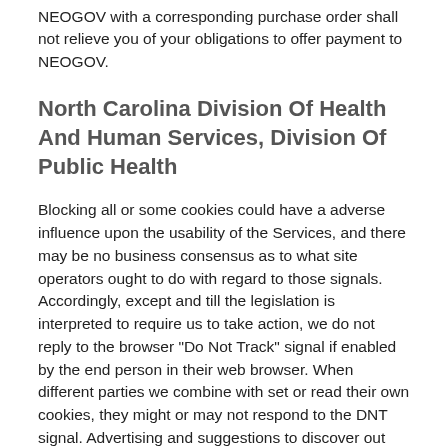NEOGOV with a corresponding purchase order shall not relieve you of your obligations to offer payment to NEOGOV.
North Carolina Division Of Health And Human Services, Division Of Public Health
Blocking all or some cookies could have a adverse influence upon the usability of the Services, and there may be no business consensus as to what site operators ought to do with regard to those signals. Accordingly, except and till the legislation is interpreted to require us to take action, we do not reply to the browser “Do Not Track” signal if enabled by the end person in their web browser. When different parties we combine with set or read their own cookies, they might or may not respond to the DNT signal. Advertising and suggestions to discover out whether our advertising and suggestions inquiries are acquired, opened, if the content or marketing campaign is efficient, and to offer you extra specific content material about Services we or our partners offer